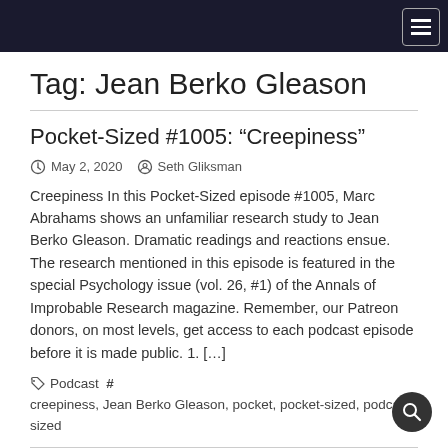Tag: Jean Berko Gleason
Pocket-Sized #1005: “Creepiness”
May 2, 2020  Seth Gliksman
Creepiness In this Pocket-Sized episode #1005, Marc Abrahams shows an unfamiliar research study to Jean Berko Gleason. Dramatic readings and reactions ensue. The research mentioned in this episode is featured in the special Psychology issue (vol. 26, #1) of the Annals of Improbable Research magazine. Remember, our Patreon donors, on most levels, get access to each podcast episode before it is made public. 1. […]
Podcast  #creepiness, Jean Berko Gleason, pocket, pocket-sized, podcast, sized